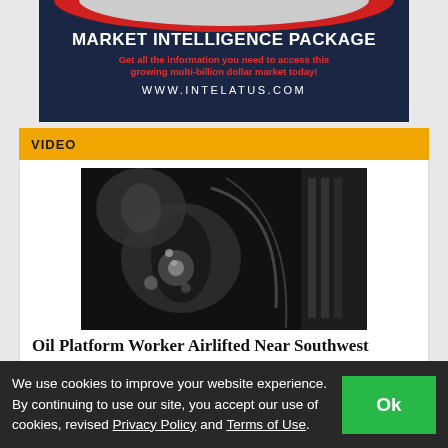[Figure (illustration): Advertisement banner for Market Intelligence Package on dark navy background with red arc decoration at top. White bold text heading, red subtitle text, and white URL.]
VIDEO
[Figure (photo): Black and white video thumbnail showing an oil platform or industrial underwater scene, dark and atmospheric.]
Oil Platform Worker Airlifted Near Southwest
We use cookies to improve your website experience. By continuing to use our site, you accept our use of cookies, revised Privacy Policy and Terms of Use.